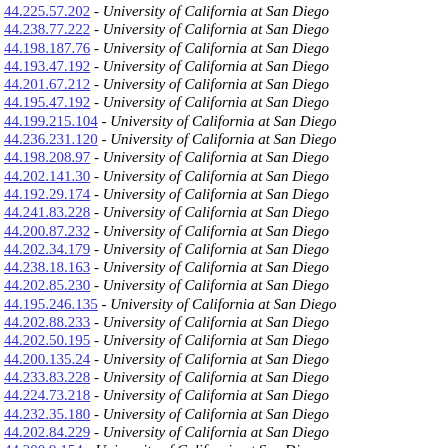44.225.57.202 - University of California at San Diego
44.238.77.222 - University of California at San Diego
44.198.187.76 - University of California at San Diego
44.193.47.192 - University of California at San Diego
44.201.67.212 - University of California at San Diego
44.195.47.192 - University of California at San Diego
44.199.215.104 - University of California at San Diego
44.236.231.120 - University of California at San Diego
44.198.208.97 - University of California at San Diego
44.202.141.30 - University of California at San Diego
44.192.29.174 - University of California at San Diego
44.241.83.228 - University of California at San Diego
44.200.87.232 - University of California at San Diego
44.202.34.179 - University of California at San Diego
44.238.18.163 - University of California at San Diego
44.202.85.230 - University of California at San Diego
44.195.246.135 - University of California at San Diego
44.202.88.233 - University of California at San Diego
44.202.50.195 - University of California at San Diego
44.200.135.24 - University of California at San Diego
44.233.83.228 - University of California at San Diego
44.224.73.218 - University of California at San Diego
44.232.35.180 - University of California at San Diego
44.202.84.229 - University of California at San Diego
44.200.9.154 - University of California at San Diego
44.225.85.230 - University of California at San Diego
44.201.6.151 - University of California at San Diego
44.225.59.204 - University of California at San Diego
44.193.127.16 - University of California at San Diego
44.197.49.194 - University of California at San Diego